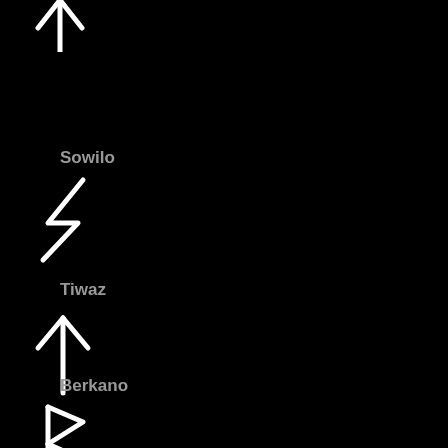[Figure (illustration): Rune symbol at top - appears to be the Sowilo or similar rune, shown partially at top of page]
Sowilo
[Figure (illustration): Sowilo rune symbol - lightning bolt / S-shaped angular symbol in white]
Tiwaz
[Figure (illustration): Tiwaz rune symbol - upward arrow with angled base lines in white]
Berkano
[Figure (illustration): Berkano rune symbol - angular B-like symbol in white]
Ehwaz